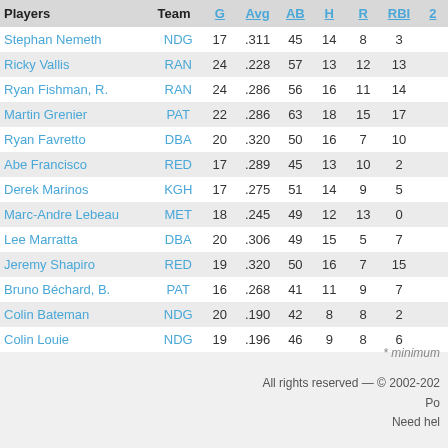| Players | Team | G | Avg | AB | H | R | RBI | 2 |
| --- | --- | --- | --- | --- | --- | --- | --- | --- |
| Stephan Nemeth | NDG | 17 | .311 | 45 | 14 | 8 | 3 |  |
| Ricky Vallis | RAN | 24 | .228 | 57 | 13 | 12 | 13 |  |
| Ryan Fishman, R. | RAN | 24 | .286 | 56 | 16 | 11 | 14 |  |
| Martin Grenier | PAT | 22 | .286 | 63 | 18 | 15 | 17 |  |
| Ryan Favretto | DBA | 20 | .320 | 50 | 16 | 7 | 10 |  |
| Abe Francisco | RED | 17 | .289 | 45 | 13 | 10 | 2 |  |
| Derek Marinos | KGH | 17 | .275 | 51 | 14 | 9 | 5 |  |
| Marc-Andre Lebeau | MET | 18 | .245 | 49 | 12 | 13 | 0 |  |
| Lee Marratta | DBA | 20 | .306 | 49 | 15 | 5 | 7 |  |
| Jeremy Shapiro | RED | 19 | .320 | 50 | 16 | 7 | 15 |  |
| Bruno Béchard, B. | PAT | 16 | .268 | 41 | 11 | 9 | 7 |  |
| Colin Bateman | NDG | 20 | .190 | 42 | 8 | 8 | 2 |  |
| Colin Louie | NDG | 19 | .196 | 46 | 9 | 8 | 6 |  |
* minimum
All rights reserved — © 2002-202
Po
Need hel